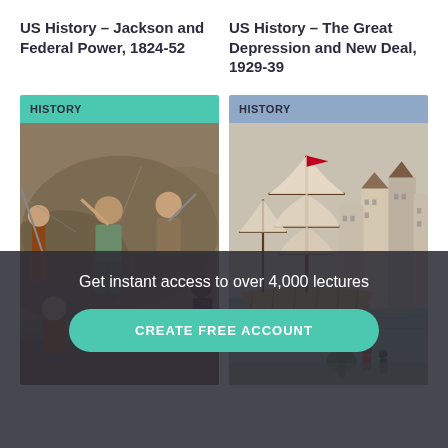US History – Jackson and Federal Power, 1824-52
US History – The Great Depression and New Deal, 1929-39
[Figure (illustration): Card with teal 'HISTORY' label and a historical painting of a battle scene with warriors fighting]
[Figure (illustration): Card with slate blue 'HISTORY' label and a historical painting of a colonial harbor with tall ships and buildings]
Get instant access to over 4,000 lectures
CREATE FREE ACCOUNT